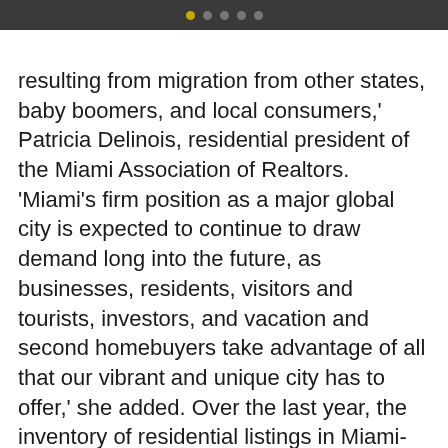• • • • •
resulting from migration from other states, baby boomers, and local consumers,' Patricia Delinois, residential president of the Miami Association of Realtors. 'Miami's firm position as a major global city is expected to continue to draw demand long into the future, as businesses, residents, visitors and tourists, investors, and vacation and second homebuyers take advantage of all that our vibrant and unique city has to offer,' she added. Over the last year, the inventory of residential listings in Miami-Dade County has dropped 26% from 15,405 11,431. Compared to the previous month, the